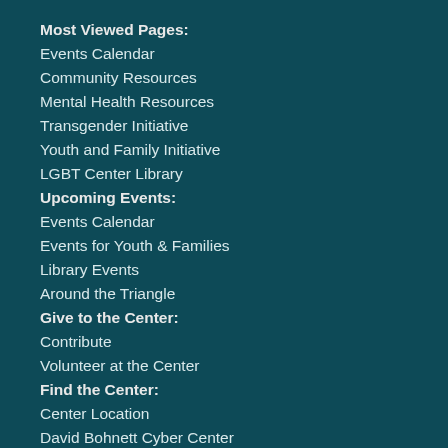Most Viewed Pages:
Events Calendar
Community Resources
Mental Health Resources
Transgender Initiative
Youth and Family Initiative
LGBT Center Library
Upcoming Events:
Events Calendar
Events for Youth & Families
Library Events
Around the Triangle
Give to the Center:
Contribute
Volunteer at the Center
Find the Center:
Center Location
David Bohnett Cyber Center
The Center on Social Media
Contact Us
Get on the Mailing List
Miscellaneous:
Legal Stuff